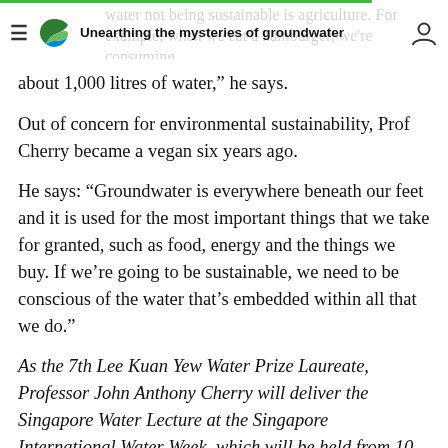Unearthing the mysteries of groundwater
about 1,000 litres of water,” he says.
Out of concern for environmental sustainability, Prof Cherry became a vegan six years ago.
He says: “Groundwater is everywhere beneath our feet and it is used for the most important things that we take for granted, such as food, energy and the things we buy. If we’re going to be sustainable, we need to be conscious of the water that’s embedded within all that we do.”
As the 7th Lee Kuan Yew Water Prize Laureate, Professor John Anthony Cherry will deliver the Singapore Water Lecture at the Singapore International Water Week, which will be held from 10 to 14 July 2016. Click here to register for the event.